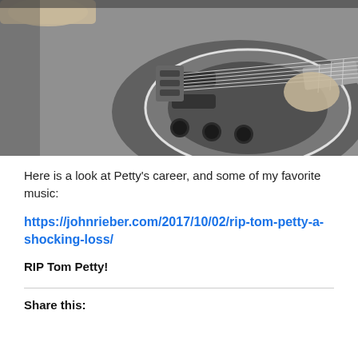[Figure (photo): Black and white photo of a person playing an electric guitar, cropped to show the body of the guitar and the player's hands strumming and fretting.]
Here is a look at Petty's career, and some of my favorite music:
https://johnrieber.com/2017/10/02/rip-tom-petty-a-shocking-loss/
RIP Tom Petty!
Share this: